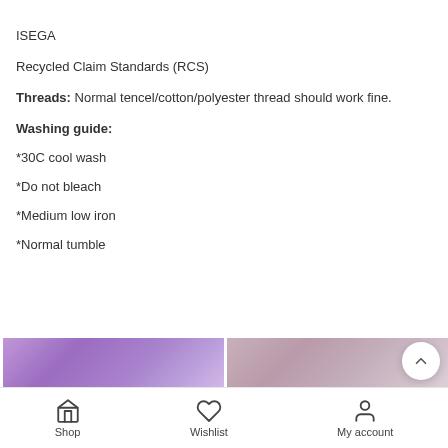ISEGA
Recycled Claim Standards (RCS)
Threads: Normal tencel/cotton/polyester thread should work fine.
Washing guide:
*30C cool wash
*Do not bleach
*Medium low iron
*Normal tumble
[Figure (photo): Two fabric swatches shown at the bottom: left is purple/violet fabric, right is dusty mauve/pink fabric]
Shop  Wishlist  My account